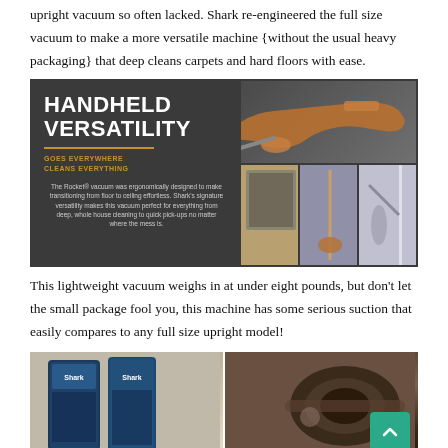upright vacuum so often lacked. Shark re-engineered the full size vacuum to make a more versatile machine {without the usual heavy packaging} that deep cleans carpets and hard floors with ease.
[Figure (infographic): Dark grey banner showing 'HANDHELD VERSATILITY' heading with orange accent line, 'GOES EVERYWHERE CLEANS EVERYTHING' subtitle, descriptive text about the Rocket vacuum's ergonomic design, plus three photos of vacuum being used on floors and windows, and a top image of the Shark Rocket vacuum product.]
This lightweight vacuum weighs in at under eight pounds, but don't let the small package fool you, this machine has some serious suction that easily compares to any full size upright model!
[Figure (photo): Two photos side by side: left shows Shark vacuum product boxes on display; right shows a close-up of the vacuum cleaner head/attachment in dark tones.]